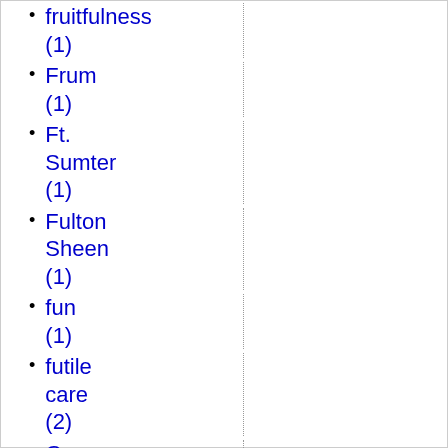fruitfulness (1)
Frum (1)
Ft. Sumter (1)
Fulton Sheen (1)
fun (1)
futile care (2)
G. K. Chesterton (1)
G20 (1)
gardening (2)
Gasoline (1)